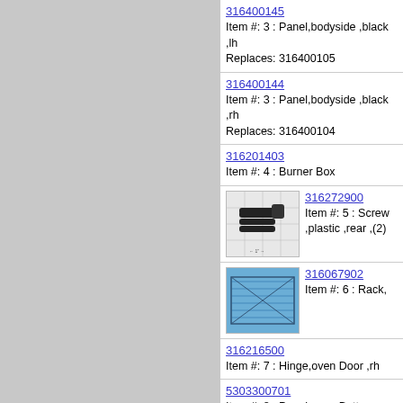316400145 - Item #: 3 : Panel,bodyside ,black ,lh - Replaces: 316400105
316400144 - Item #: 3 : Panel,bodyside ,black ,rh - Replaces: 316400104
316201403 - Item #: 4 : Burner Box
[Figure (photo): Photo of screw part 316272900 on gridded background]
316272900 - Item #: 5 : Screw ,plastic ,rear ,(2)
[Figure (photo): Photo of oven rack part 316067902 on blue gridded background]
316067902 - Item #: 6 : Rack,
316216500 - Item #: 7 : Hinge,oven Door ,rh
5303300701 - Item #: 8 : Panel-oven Bottom
[Figure (photo): Photo of pan part 5304494997 on gridded background]
5304494997 - Item #: 9 : Pan,b - Replaces: 316083